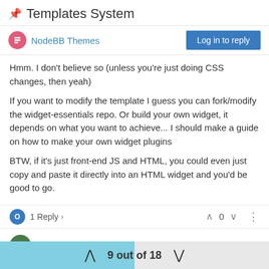Templates System
NodeeBB Themes
Hmm. I don't believe so (unless you're just doing CSS changes, then yeah)

If you want to modify the template I guess you can fork/modify the widget-essentials repo. Or build your own widget, it depends on what you want to achieve... I should make a guide on how to make your own widget plugins

BTW, if it's just front-end JS and HTML, you could even just copy and paste it directly into an HTML widget and you'd be good to go.
1 Reply
0
Oleksandr Pidlisnyi
Aug 5, 2014, 3:54 PM
@psychobunny said:
9 out of 18